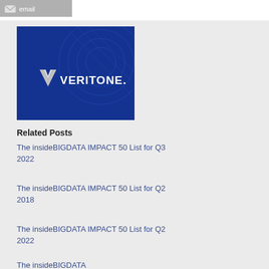[Figure (logo): Email share button with envelope icon and 'email' text on gray background]
[Figure (logo): Veritone company logo on blue background with geometric network pattern]
Related Posts
The insideBIGDATA IMPACT 50 List for Q3 2022
The insideBIGDATA IMPACT 50 List for Q2 2018
The insideBIGDATA IMPACT 50 List for Q2 2022
The insideBIGDATA